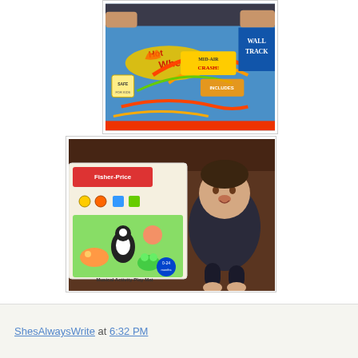[Figure (photo): Hot Wheels Wall Tracks toy box being held up, showing mid-air crash track set with colorful track elements]
[Figure (photo): Fisher-Price Musical Activity Play Mat box next to a smiling baby lying on a brown surface]
ShesAlwaysWrite at 6:32 PM